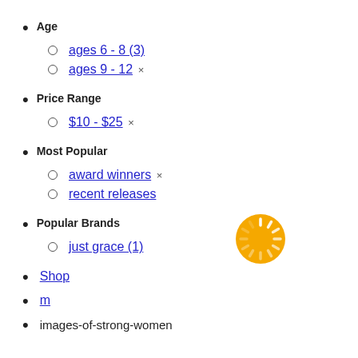Age
ages 6 - 8 (3)
ages 9 - 12 ×
Price Range
$10 - $25 ×
Most Popular
award winners ×
recent releases
Popular Brands
just grace (1)
Shop
m
images-of-strong-women
[Figure (illustration): Orange/yellow circular loading spinner icon]